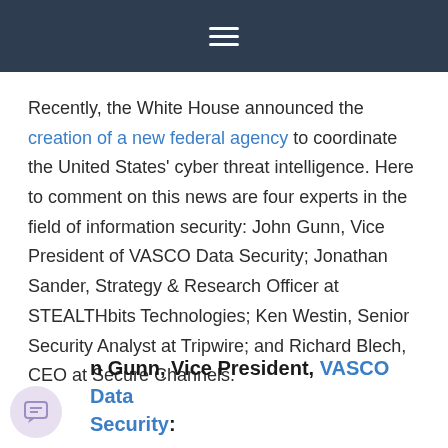☰
Recently, the White House announced the creation of a new federal agency to coordinate the United States' cyber threat intelligence. Here to comment on this news are four experts in the field of information security: John Gunn, Vice President of VASCO Data Security; Jonathan Sander, Strategy & Research Officer at STEALTHbits Technologies; Ken Westin, Senior Security Analyst at Tripwire; and Richard Blech, CEO at Secure Channels.
John Gunn, Vice President, VASCO Data Security: